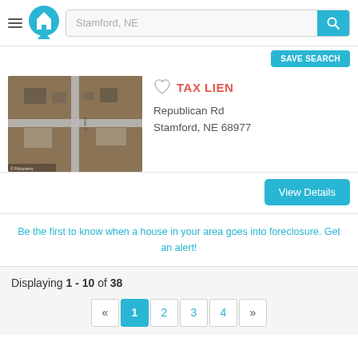Stamford, NE
[Figure (screenshot): Aerial satellite map view of Republican Rd, Stamford, NE showing roads and buildings from above]
TAX LIEN
Republican Rd
Stamford, NE 68977
Be the first to know when a house in your area goes into foreclosure. Get an alert!
Displaying 1 - 10 of 38
« 1 2 3 4 »